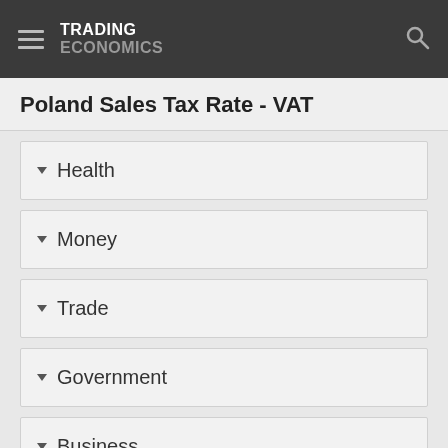TRADING ECONOMICS
Poland Sales Tax Rate - VAT
Health
Money
Trade
Government
Business
Consumer
Housing